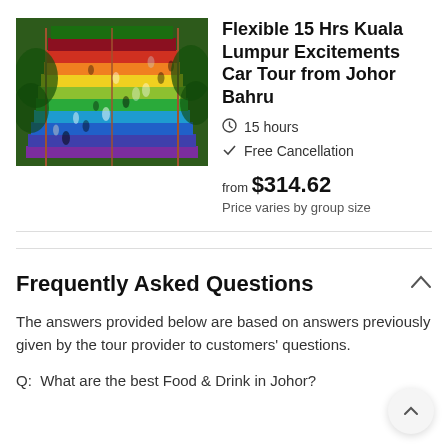[Figure (photo): Aerial view of colorful rainbow-painted stairs/steps with many people walking on them, surrounded by lush green trees. The stairs feature vibrant colors including red, orange, yellow, green, blue, and purple.]
Flexible 15 Hrs Kuala Lumpur Excitements Car Tour from Johor Bahru
15 hours
Free Cancellation
from $314.62
Price varies by group size
Frequently Asked Questions
The answers provided below are based on answers previously given by the tour provider to customers' questions.
Q:  What are the best Food & Drink in Johor?